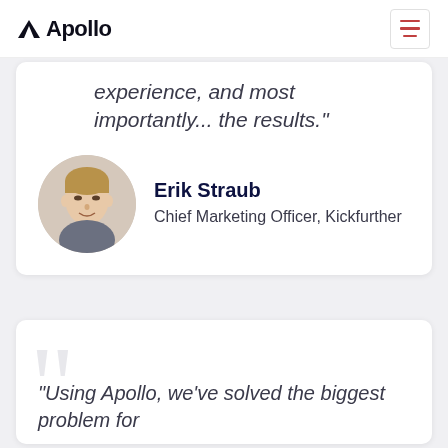Apollo
experience, and most importantly... the results."
[Figure (photo): Circular headshot photo of Erik Straub]
Erik Straub
Chief Marketing Officer, Kickfurther
"Using Apollo, we’ve solved the biggest problem for